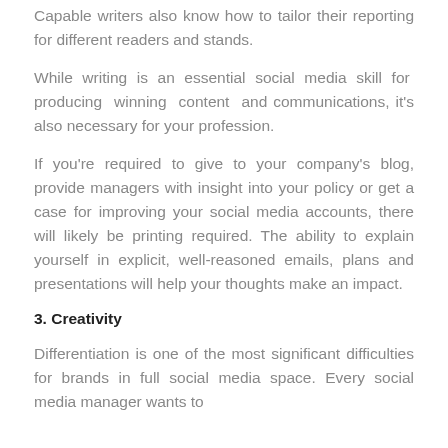Capable writers also know how to tailor their reporting for different readers and stands.
While writing is an essential social media skill for producing winning content and communications, it's also necessary for your profession.
If you're required to give to your company's blog, provide managers with insight into your policy or get a case for improving your social media accounts, there will likely be printing required. The ability to explain yourself in explicit, well-reasoned emails, plans and presentations will help your thoughts make an impact.
3. Creativity
Differentiation is one of the most significant difficulties for brands in full social media space. Every social media manager wants to